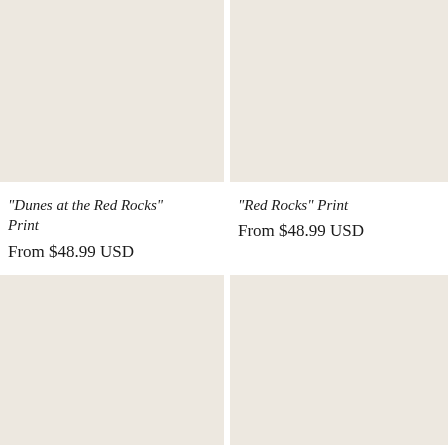[Figure (photo): Product image placeholder — beige/off-white square for 'Dunes at the Red Rocks' Print]
[Figure (photo): Product image placeholder — beige/off-white square for 'Red Rocks' Print]
"Dunes at the Red Rocks" Print
From $48.99 USD
"Red Rocks" Print
From $48.99 USD
[Figure (photo): Product image placeholder — beige/off-white square, bottom left]
[Figure (photo): Product image placeholder — beige/off-white square, bottom right]